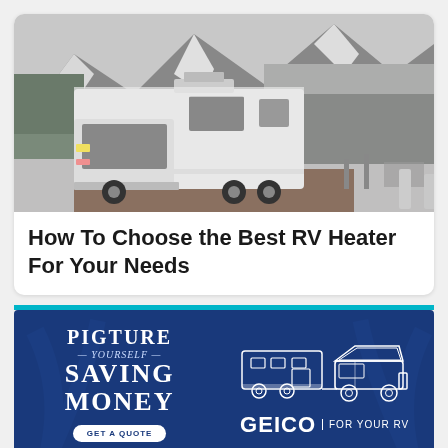[Figure (photo): A white Class C motorhome/RV parked in a snow-covered campground with forested mountains in the background. The scene is wintry with snow on the ground and trees.]
How To Choose the Best RV Heater For Your Needs
[Figure (illustration): GEICO advertisement banner with dark blue background. Left side reads 'PICTURE YOURSELF SAVING MONEY' with a 'GET A QUOTE' button. Right side shows an illustration of a pickup truck towing an RV trailer, with 'GEICO | FOR YOUR RV' text.]